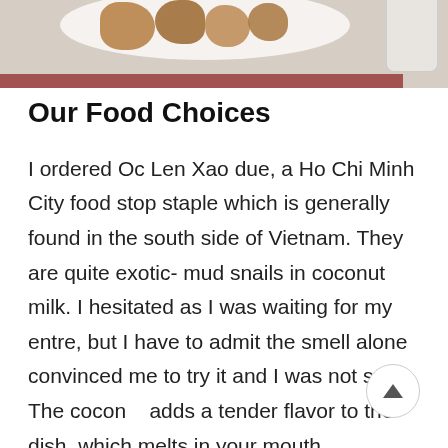[Figure (photo): Food photo showing fried/cooked items on a white plate with a cup visible on the right and a dark red band at the bottom edge]
Our Food Choices
I ordered Oc Len Xao due, a Ho Chi Minh City food stop staple which is generally found in the south side of Vietnam. They are quite exotic- mud snails in coconut milk. I hesitated as I was waiting for my entre, but I have to admit the smell alone convinced me to try it and I was not sorry. The coconut adds a tender flavor to the dish, which melts in your mouth.